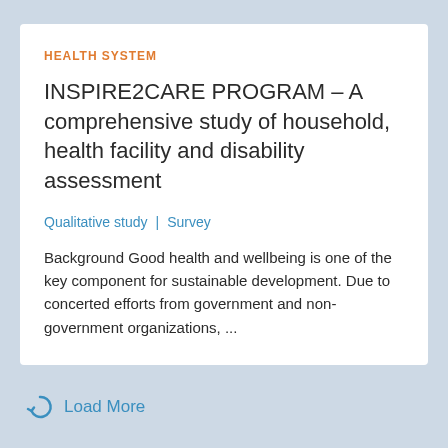HEALTH SYSTEM
INSPIRE2CARE PROGRAM – A comprehensive study of household, health facility and disability assessment
Qualitative study | Survey
Background Good health and wellbeing is one of the key component for sustainable development. Due to concerted efforts from government and non-government organizations, ...
Load More